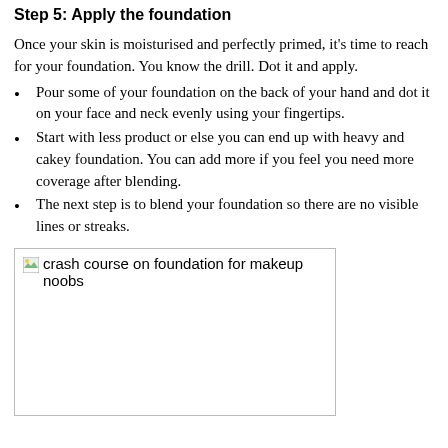Step 5: Apply the foundation
Once your skin is moisturised and perfectly primed, it’s time to reach for your foundation. You know the drill. Dot it and apply.
Pour some of your foundation on the back of your hand and dot it on your face and neck evenly using your fingertips.
Start with less product or else you can end up with heavy and cakey foundation. You can add more if you feel you need more coverage after blending.
The next step is to blend your foundation so there are no visible lines or streaks.
[Figure (photo): Broken image placeholder with alt text: crash course on foundation for makeup noobs]